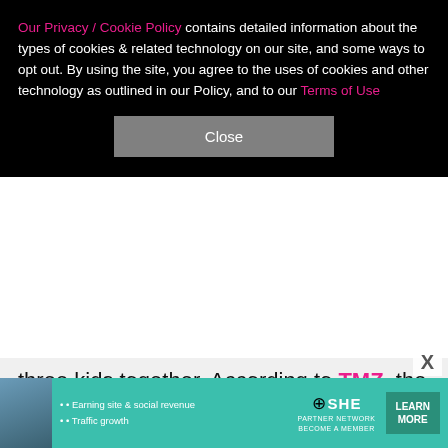Our Privacy / Cookie Policy contains detailed information about the types of cookies & related technology on our site, and some ways to opt out. By using the site, you agree to the uses of cookies and other technology as outlined in our Policy, and to our Terms of Use
Close
three kids together. According to TMZ, the prominent surgeon cited irreconcilable differences as the reason for the split and listed November 2017 as the date of separation. He's reportedly asking for spousal support (and has asked that any request for spousal support from Geena be blocked) and joint legal and physical custody of their daughter and twin sons. Interestingly, Reza used aliases — Rob Doe and Veronica Doe — in the divorce filing.
[Figure (infographic): SHE Partner Network advertisement banner with woman photo, bullet points about Earning site & social revenue and Traffic growth, SHE logo with globe icon, and a Learn More button]